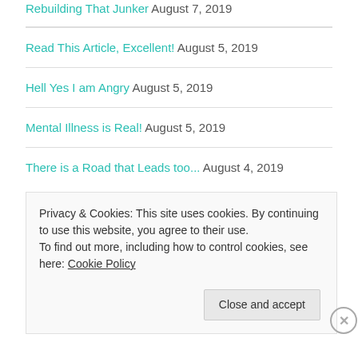Rebuilding That Junker August 7, 2019
Read This Article, Excellent! August 5, 2019
Hell Yes I am Angry August 5, 2019
Mental Illness is Real! August 5, 2019
There is a Road that Leads too... August 4, 2019
Privacy & Cookies: This site uses cookies. By continuing to use this website, you agree to their use. To find out more, including how to control cookies, see here: Cookie Policy
Close and accept